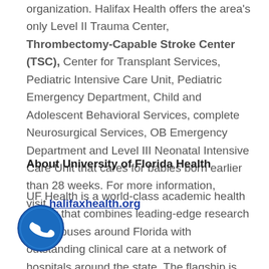organization. Halifax Health offers the area's only Level II Trauma Center, Thrombectomy-Capable Stroke Center (TSC), Center for Transplant Services, Pediatric Intensive Care Unit, Pediatric Emergency Department, Child and Adolescent Behavioral Services, complete Neurosurgical Services, OB Emergency Department and Level III Neonatal Intensive Care Unit that cares for babies born earlier than 28 weeks. For more information, visit halifaxhealth.org
About University of Florida Health
UF Health is a world-class academic health center that combines leading-edge research at campuses around Florida with outstanding clinical care at a network of hospitals around the state. The flagship is UF Health Shands Hospital, part of Florida's preeminent health
[Figure (illustration): Blue circular phone/WhatsApp-style icon with white telephone handset symbol]